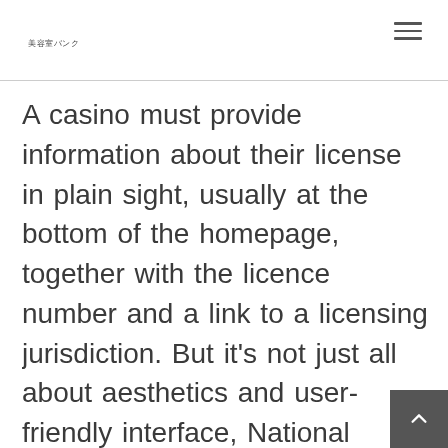美容室バンク
A casino must provide information about their license in plain sight, usually at the bottom of the homepage, together with the licence number and a link to a licensing jurisdiction. But it's not just all about aesthetics and user-friendly interface, National Casino also has a massive catalog of online casino games, with over 4000 titles on offer. Many of their games offer free play options as well as real money bets, allowing you to test your luck without risking any cash. The casino yo